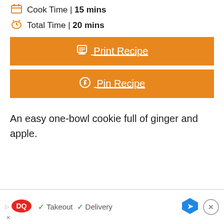Cook Time | 15 mins
Total Time | 20 mins
Print Recipe
Pin Recipe
An easy one-bowl cookie full of ginger and apple.
[Figure (other): Advertisement banner: Dairy Queen logo with text 'Takeout' and 'Delivery' with checkmarks, navigation arrow icon, and close button]